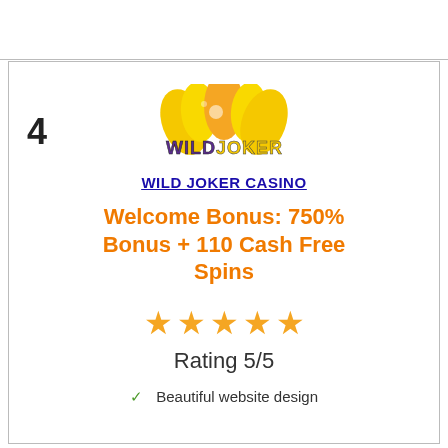[Figure (logo): Wild Joker Casino logo with yellow/orange flame-like shapes and 'WILD JOKER' text in green and yellow]
WILD JOKER CASINO
Welcome Bonus: 750% Bonus + 110 Cash Free Spins
[Figure (infographic): Five orange star rating icons]
Rating 5/5
✓  Beautiful website design